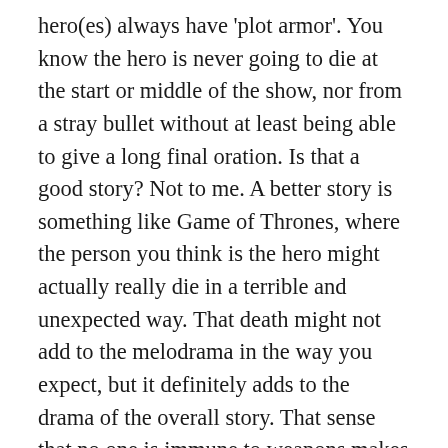hero(es) always have 'plot armor'. You know the hero is never going to die at the start or middle of the show, nor from a stray bullet without at least being able to give a long final oration. Is that a good story? Not to me. A better story is something like Game of Thrones, where the person you think is the hero might actually really die in a terrible and unexpected way. That death might not add to the melodrama in the way you expect, but it definitely adds to the drama of the overall story. That sense that no one is immune to weapons makes the story more real and immediate to me: bad guys are more threatening, and the world seems more real and alive, when no one has plot armor. That for